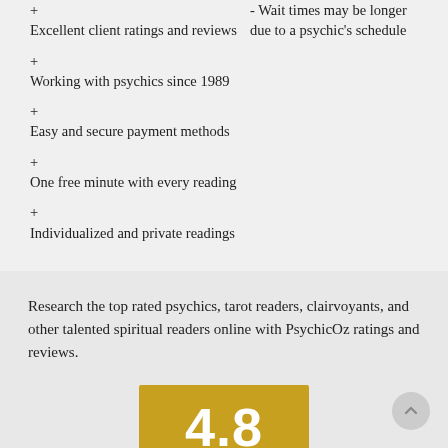+ Excellent client ratings and reviews
- Wait times may be longer due to a psychic's schedule
+ Working with psychics since 1989
+ Easy and secure payment methods
+ One free minute with every reading
+ Individualized and private readings
Research the top rated psychics, tarot readers, clairvoyants, and other talented spiritual readers online with PsychicOz ratings and reviews.
[Figure (other): Golden/yellow rating box displaying the number 4.8 in large white bold text]